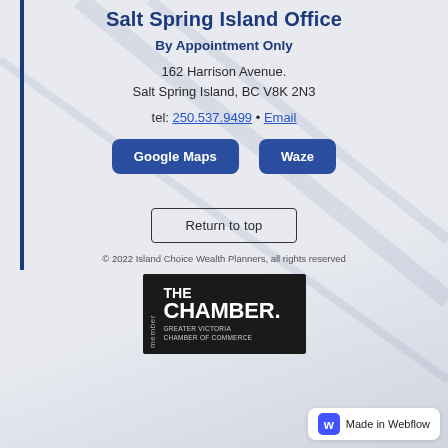Salt Spring Island Office
By Appointment Only
162 Harrison Avenue.
Salt Spring Island, BC V8K 2N3
tel: 250.537.9499 • Email
[Figure (other): Two dark blue rounded buttons labeled 'Google Maps' and 'Waze']
[Figure (other): Outlined button labeled 'Return to top']
© 2022 Island Choice Wealth Planners, all rights reserved
[Figure (logo): Member THE CHAMBER. Greater Victoria Chamber of Commerce logo on black background]
[Figure (logo): Made in Webflow badge with blue W icon]